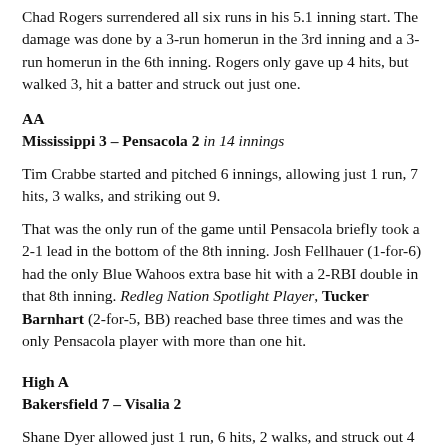Chad Rogers surrendered all six runs in his 5.1 inning start. The damage was done by a 3-run homerun in the 3rd inning and a 3-run homerun in the 6th inning. Rogers only gave up 4 hits, but walked 3, hit a batter and struck out just one.
AA
Mississippi 3 – Pensacola 2 in 14 innings
Tim Crabbe started and pitched 6 innings, allowing just 1 run, 7 hits, 3 walks, and striking out 9.
That was the only run of the game until Pensacola briefly took a 2-1 lead in the bottom of the 8th inning. Josh Fellhauer (1-for-6) had the only Blue Wahoos extra base hit with a 2-RBI double in that 8th inning. Redleg Nation Spotlight Player, Tucker Barnhart (2-for-5, BB) reached base three times and was the only Pensacola player with more than one hit.
High A
Bakersfield 7 – Visalia 2
Shane Dyer allowed just 1 run, 6 hits, 2 walks, and struck out 4